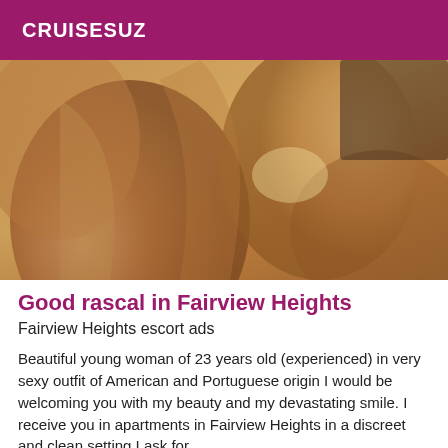CRUISESUZ
[Figure (photo): Close-up photograph with warm brown and tan tones, appears to show a person in a dimly lit room setting]
Good rascal in Fairview Heights
Fairview Heights escort ads
Beautiful young woman of 23 years old (experienced) in very sexy outfit of American and Portuguese origin I would be welcoming you with my beauty and my devastating smile. I receive you in apartments in Fairview Heights in a discreet and clean setting I ask for